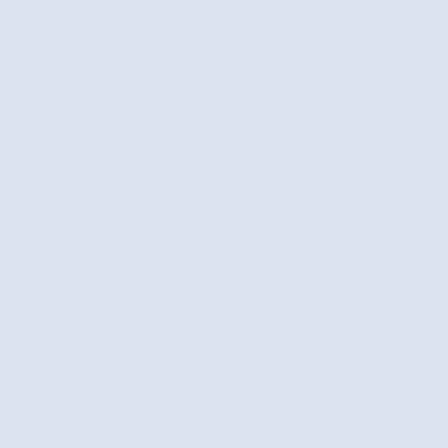[Figure (photo): Partial view of a jewelry organizer or metal rack against a textured surface, top portion, cropped at right edge]
It's truly the ultimate in jewelry organiza... bracelets, rings, earrings, anklets and e... wonderful bathroom decor item too. It's... can use it for years to come. My assem...
[Figure (photo): A metal jewelry organizer/rack with hooks, rings, and bars mounted on a textured stone or concrete wall surface, with a wooden shelf partially visible on the left side]